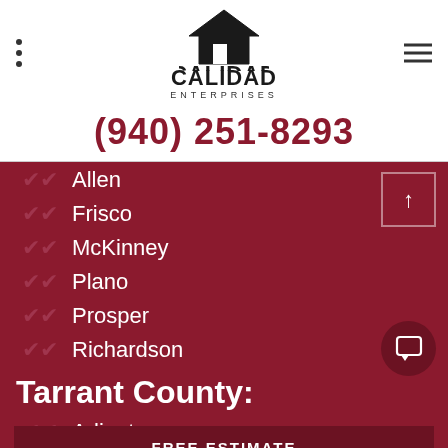[Figure (logo): Calidad Enterprises logo with house/roof icon above bold text CALIDAD and subtitle ENTERPRISES]
(940) 251-8293
Allen
Frisco
McKinney
Plano
Prosper
Richardson
Tarrant County:
Arlington
Flower Mound
FREE ESTIMATE